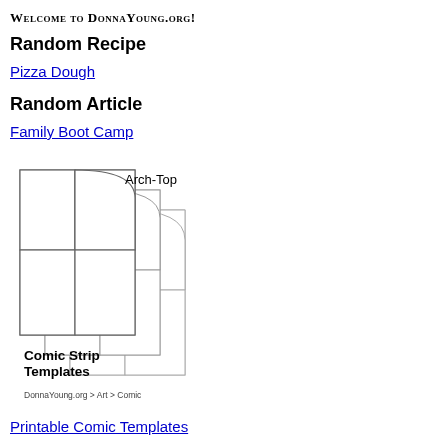Welcome to DonnaYoung.org!
Random Recipe
Pizza Dough
Random Article
Family Boot Camp
[Figure (illustration): Comic strip template preview image showing arch-top comic strip panels with text 'Arch-Top Comic Strip Templates' and 'DonnaYoung.org > Art > Comic']
Printable Comic Templates